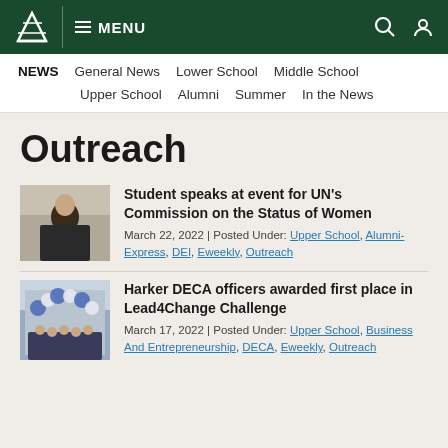MENU
NEWS  General News  Lower School  Middle School  Upper School  Alumni  Summer  In the News
Outreach
[Figure (photo): Thumbnail photo of a student speaking, video call style]
Student speaks at event for UN's Commission on the Status of Women
March 22, 2022 | Posted Under: Upper School, Alumni-Express, DEI, Eweekly, Outreach
[Figure (photo): Thumbnail photo of students posing with blue and white balloon arch]
Harker DECA officers awarded first place in Lead4Change Challenge
March 17, 2022 | Posted Under: Upper School, Business And Entrepreneurship, DECA, Eweekly, Outreach